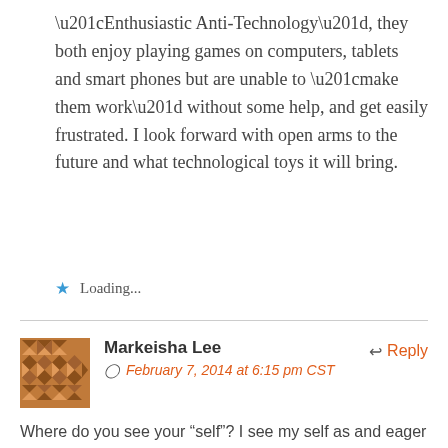“Enthusiastic Anti-Technology”, they both enjoy playing games on computers, tablets and smart phones but are unable to “make them work” without some help, and get easily frustrated. I look forward with open arms to the future and what technological toys it will bring.
Loading...
Markeisha Lee
February 7, 2014 at 6:15 pm CST
Reply
Where do you see your “self”? I see my self as and eager adopter.
Are you a Digital Immigrant or Digital